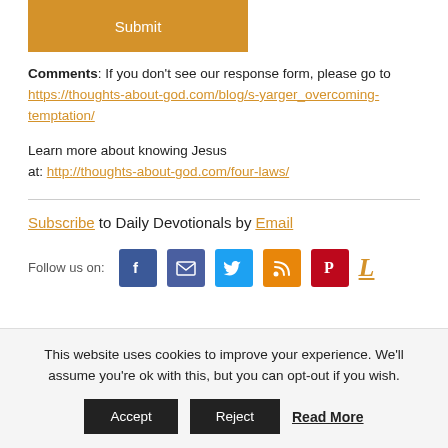[Figure (other): Orange Submit button]
Comments: If you don't see our response form, please go to https://thoughts-about-god.com/blog/s-yarger_overcoming-temptation/
Learn more about knowing Jesus at: http://thoughts-about-god.com/four-laws/
Subscribe to Daily Devotionals by Email
[Figure (infographic): Social media icons row: Facebook, Email, Twitter, RSS, Pinterest, and a stylized L icon]
This website uses cookies to improve your experience. We'll assume you're ok with this, but you can opt-out if you wish. Accept Reject Read More